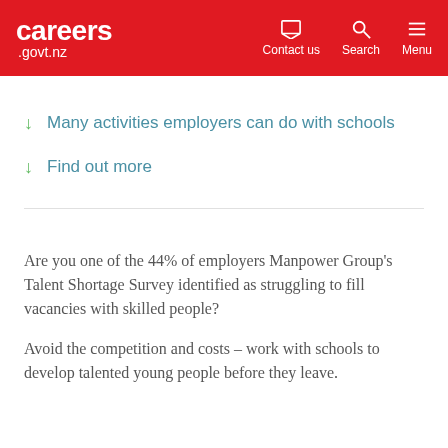careers.govt.nz | Contact us | Search | Menu
Many activities employers can do with schools
Find out more
Are you one of the 44% of employers Manpower Group's Talent Shortage Survey identified as struggling to fill vacancies with skilled people?
Avoid the competition and costs – work with schools to develop talented young people before they leave.